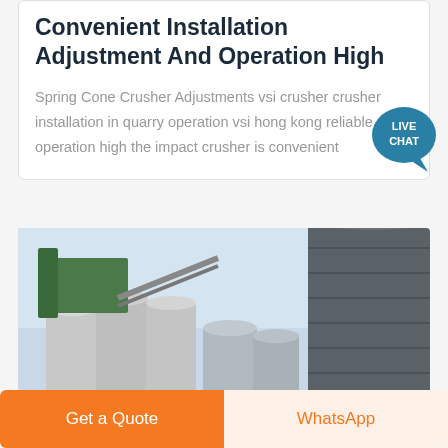Convenient Installation Adjustment And Operation High
Spring Cone Crusher Adjustments vsi crusher crusher installation in quarry operation vsi hong kong reliable operation high the impact crusher is convenient
[Figure (photo): Industrial silos and storage tanks at a crushing/quarry facility, showing large cylindrical concrete and metal silos against a light blue sky]
Get a Quote
WhatsApp